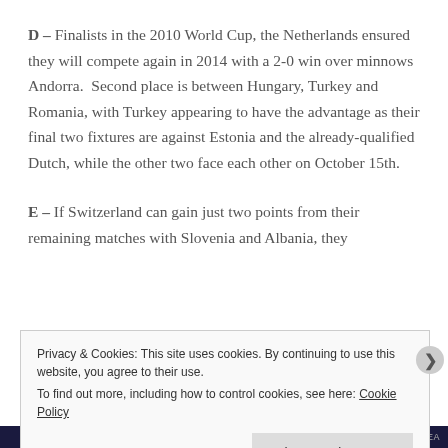D – Finalists in the 2010 World Cup, the Netherlands ensured they will compete again in 2014 with a 2-0 win over minnows Andorra.  Second place is between Hungary, Turkey and Romania, with Turkey appearing to have the advantage as their final two fixtures are against Estonia and the already-qualified Dutch, while the other two face each other on October 15th.
E – If Switzerland can gain just two points from their remaining matches with Slovenia and Albania, they
Privacy & Cookies: This site uses cookies. By continuing to use this website, you agree to their use.
To find out more, including how to control cookies, see here: Cookie Policy
Close and accept